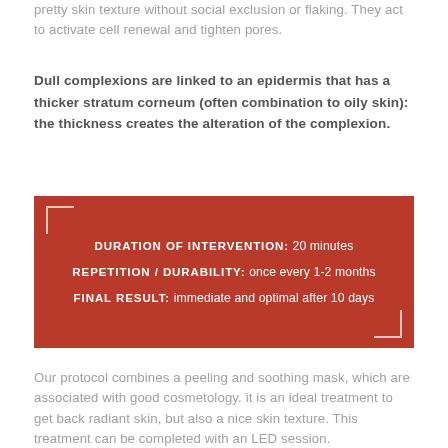pretty skin texture without social exclusion or flaking. They act to activate cell renewal and tighten pores.
Dull complexions are linked to an epidermis that has a thicker stratum corneum (often combination to oily skin): the thickness creates the alteration of the complexion.
DURATION OF INTERVENTION: 20 minutes
REPETITION / DURABILITY: once every 1-2 months
FINAL RESULT: immediate and optimal after 10 days
Our protocol combines a peeling and soothing mask, which are associated with good cosmetology. it is an ideal treatment to get back radiant skin, but also a nice skin texture. This treatment can be completed with an LED session.